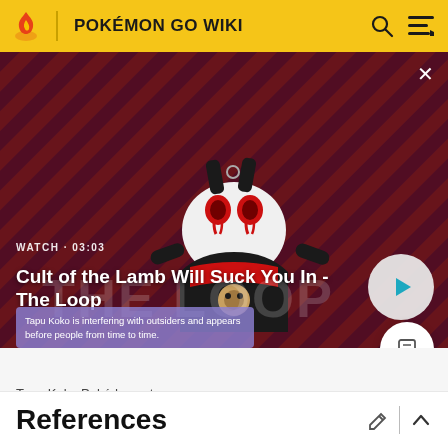POKÉMON GO WIKI
[Figure (screenshot): Video thumbnail showing Cult of the Lamb character on a red diagonal striped background. Text overlay shows WATCH · 03:03 and title 'Cult of the Lamb Will Suck You In - The Loop' with a play button.]
Tapu Koko is interfering with outsiders and appears before people from time to time.
Tapu Koko Pokédex entry
References